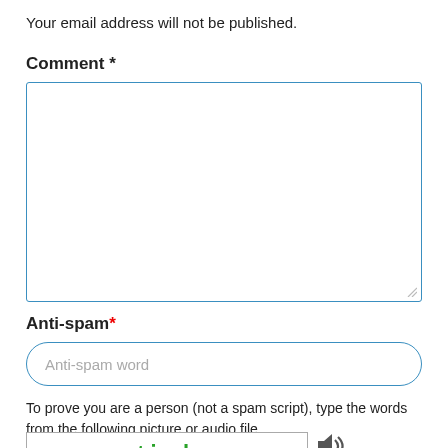Your email address will not be published.
Comment *
[Figure (screenshot): Empty comment text area input box with blue border]
Anti-spam*
[Figure (screenshot): Anti-spam word text input field with rounded border and placeholder text 'Anti-spam word']
To prove you are a person (not a spam script), type the words from the following picture or audio file.
[Figure (screenshot): CAPTCHA image showing handwritten text 'sea stick' in green on white background with faint watermark, and an audio icon to the right]